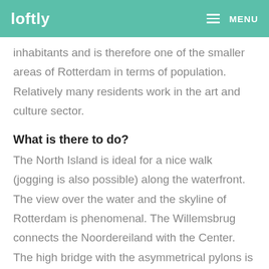loftly   MENU
inhabitants and is therefore one of the smaller areas of Rotterdam in terms of population. Relatively many residents work in the art and culture sector.
What is there to do?
The North Island is ideal for a nice walk (jogging is also possible) along the waterfront. The view over the water and the skyline of Rotterdam is phenomenal. The Willemsbrug connects the Noordereiland with the Center. The high bridge with the asymmetrical pylons is the famous Erasmus bridge. The Koningshaven Bridge, better known as De Hef, is no longer in use, but